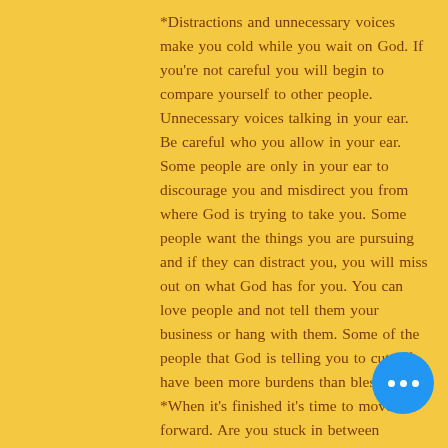*Distractions and unnecessary voices make you cold while you wait on God. If you're not careful you will begin to compare yourself to other people. Unnecessary voices talking in your ear. Be careful who you allow in your ear. Some people are only in your ear to discourage you and misdirect you from where God is trying to take you. Some people want the things you are pursuing and if they can distract you, you will miss out on what God has for you. You can love people and not tell them your business or hang with them. Some of the people that God is telling you to cut off have been more burdens than blessings. *When it's finished it's time to move forward. Are you stuck in between chapters? Sometimes you need to take some notes, so you don't keep reliving what you have already been through. You got the lesson you were supposed to learn from that chapter, and now you can transition to the next chapter, but you